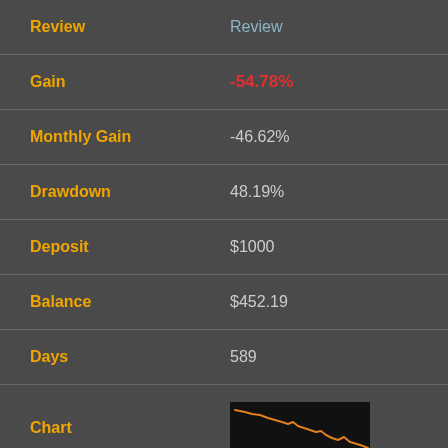Review | Review
Gain: -54.78%
Monthly Gain: -46.62%
Drawdown: 48.19%
Deposit: $1000
Balance: $452.19
Days: 589
[Figure (line-chart): Small thumbnail line chart showing a declining orange line on black background, representing account balance/gain over time trending downward]
Chart
Rank: 18
[Figure (logo): Small robot/chess knight logo icon on white background]
Robot